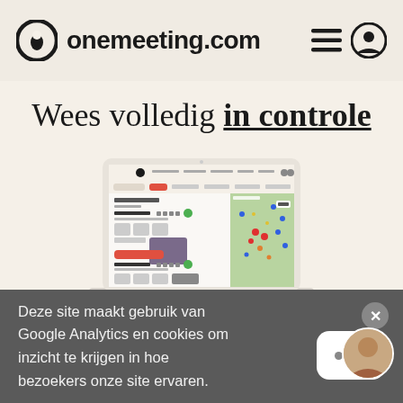onemeeting.com
Wees volledig in controle
[Figure (screenshot): Laptop screenshot showing the onemeeting.com web application interface with a list of accommodations on the left and a map of the Netherlands with location markers on the right.]
Deze site maakt gebruik van Google Analytics en cookies om inzicht te krijgen in hoe bezoekers onze site ervaren.